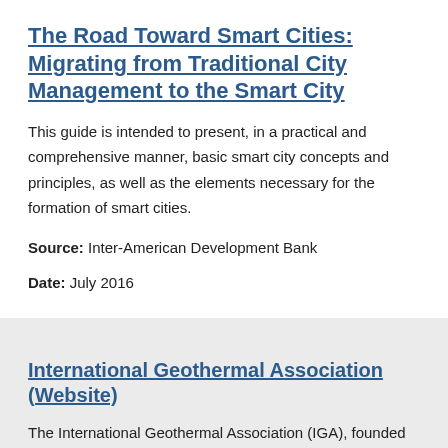The Road Toward Smart Cities: Migrating from Traditional City Management to the Smart City
This guide is intended to present, in a practical and comprehensive manner, basic smart city concepts and principles, as well as the elements necessary for the formation of smart cities.
Source: Inter-American Development Bank
Date: July 2016
International Geothermal Association (Website)
The International Geothermal Association (IGA), founded in 1988, is a scientific, educational and cultural organization.